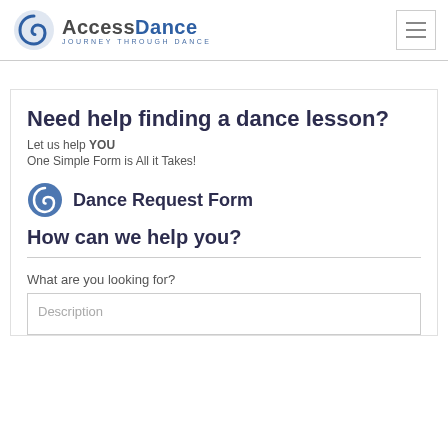AccessDance — Journey Through Dance
Need help finding a dance lesson?
Let us help YOU
One Simple Form is All it Takes!
Dance Request Form
How can we help you?
What are you looking for?
Description